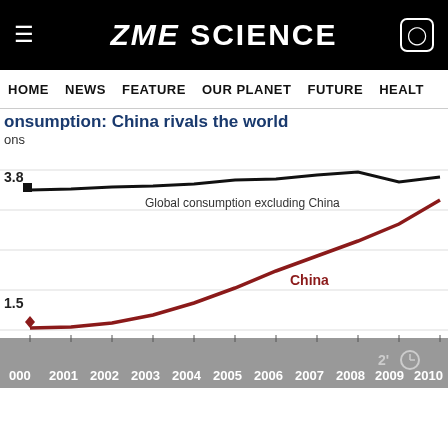ZME SCIENCE
HOME  NEWS  FEATURE  OUR PLANET  FUTURE  HEALT
consumption: China rivals the world
ons
[Figure (line-chart): consumption: China rivals the world]